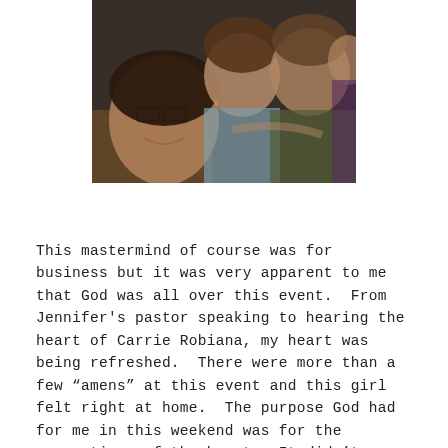[Figure (photo): A group selfie photo of four women smiling together. One woman in the foreground wears glasses and has dark hair. Others are behind her, one wearing a light blue top and another a green hoodie.]
This mastermind of course was for business but it was very apparent to me that God was all over this event. From Jennifer’s pastor speaking to hearing the heart of Carrie Robiana, my heart was being refreshed. There were more than a few “amens” at this event and this girl felt right at home. The purpose God had for me in this weekend was for the connections of the heart. It didn’t really have a thing to do with business. God was